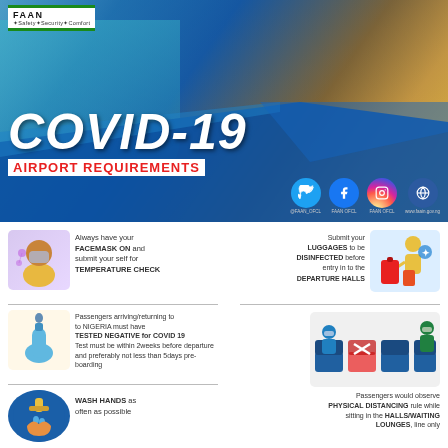[Figure (infographic): Airport COVID-19 requirements infographic banner with photo of people at airport, COVID-19 title, and social media icons]
COVID-19 AIRPORT REQUIREMENTS
Always have your FACEMASK ON and submit your self for TEMPERATURE CHECK
Submit your LUGGAGES to be DISINFECTED before entry in to the DEPARTURE HALLS
Passengers arriving/returning to to NIGERIA must have TESTED NEGATIVE for COVID 19 Test must be within 2weeks before departure and preferably not less than 5days pre-boarding
Passengers would observe PHYSICAL DISTANCING rule while sitting in the HALLS/WAITING LOUNGES, line only
WASH HANDS as often as possible